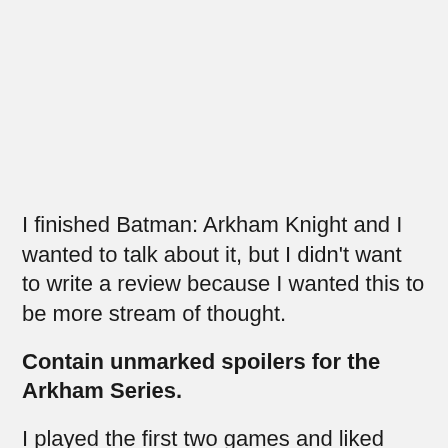I finished Batman: Arkham Knight and I wanted to talk about it, but I didn't want to write a review because I wanted this to be more stream of thought.
Contain unmarked spoilers for the Arkham Series.
I played the first two games and liked them well enough, though they never left much of an impact